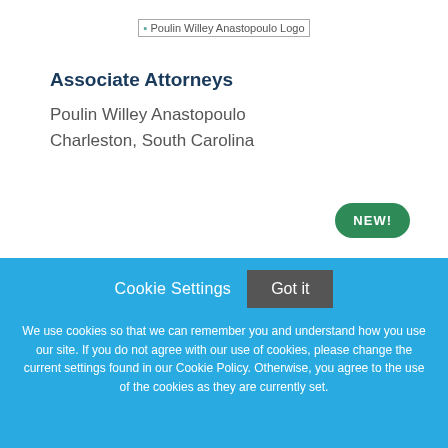[Figure (logo): Poulin Willey Anastopoulo Logo]
Associate Attorneys
Poulin Willey Anastopoulo
Charleston, South Carolina
NEW!
Cookie Settings
Got it
We use cookies so that we can remember you and understand how you use our site. If you do not agree with our use of cookies, please change the current settings found in our Cookie Policy. Otherwise, you agree to the use of the cookies as they are currently set.